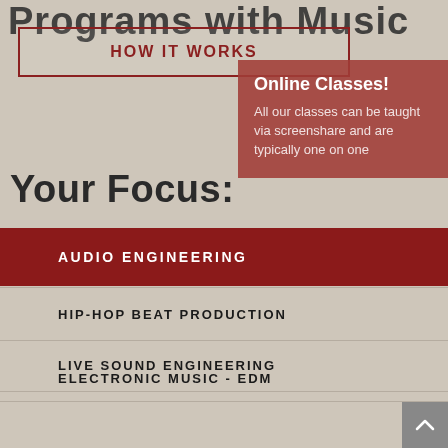Programs with Music
HOW IT WORKS
Online Classes! All our classes can be taught via screenshare and are typically one on one
Your Focus:
AUDIO ENGINEERING
HIP-HOP BEAT PRODUCTION
LIVE SOUND ENGINEERING
ELECTRONIC MUSIC - EDM
LIVE DJ PRODUCTION
MUSIC BUSINESS - START A LABEL